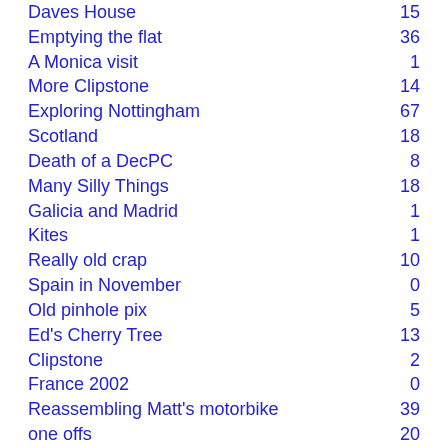Daves House  15
Emptying the flat  36
A Monica visit  1
More Clipstone  14
Exploring Nottingham  67
Scotland  18
Death of a DecPC  8
Many Silly Things  18
Galicia and Madrid  1
Kites  1
Really old crap  10
Spain in November  0
Old pinhole pix  5
Ed's Cherry Tree  13
Clipstone  2
France 2002  0
Reassembling Matt's motorbike  39
one offs  20
Thursday Nights  1
France 2004  1
Clumber Park  9